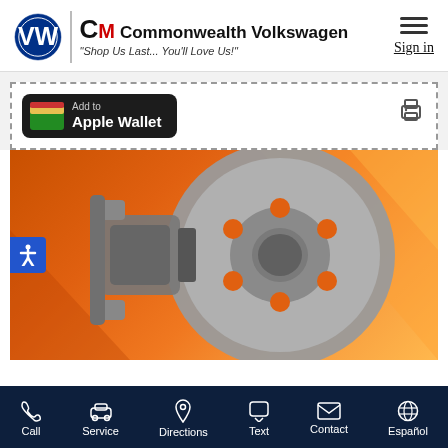[Figure (logo): Commonwealth Volkswagen dealer header with VW logo, CM logo, dealer name and tagline, hamburger menu, and Sign in link]
[Figure (screenshot): Add to Apple Wallet button with print icon on the right side inside a dashed border coupon area]
[Figure (photo): Brake disc and caliper on orange background with geometric triangle shapes]
Call | Service | Directions | Text | Contact | Español